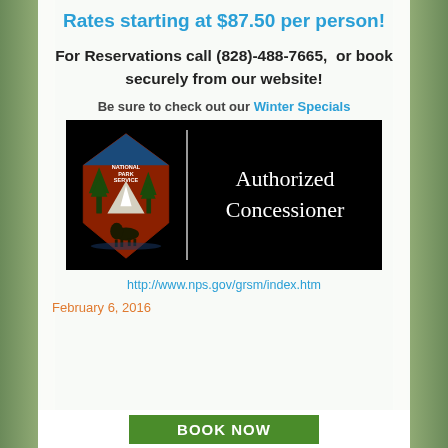Rates starting at $87.50 per person!
For Reservations call (828)-488-7665,  or book securely from our website!
Be sure to check out our Winter Specials
[Figure (logo): National Park Service Authorized Concessioner badge — NPS arrowhead logo on black background with text 'Authorized Concessioner']
http://www.nps.gov/grsm/index.htm
February 6, 2016
BOOK NOW